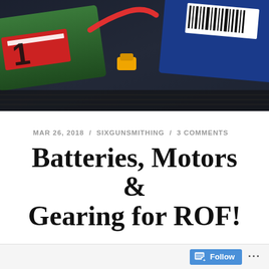[Figure (photo): Close-up photo of RC car batteries and connectors including colorful wires and battery packs against a dark background]
MAR 26, 2018 / SIXGUNSMITHING / 3 COMMENTS
Batteries, Motors & Gearing for ROF!
Considerations for motors, gearing and battery combinations.